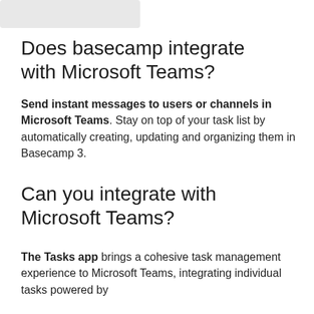[Figure (other): Small logo or header image placeholder in top-left corner]
Does basecamp integrate with Microsoft Teams?
Send instant messages to users or channels in Microsoft Teams. Stay on top of your task list by automatically creating, updating and organizing them in Basecamp 3.
Can you integrate with Microsoft Teams?
The Tasks app brings a cohesive task management experience to Microsoft Teams, integrating individual tasks powered by